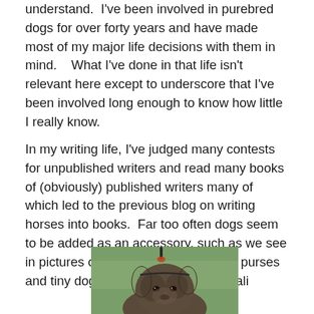understand.  I've been involved in purebred dogs for over forty years and have made most of my major life decisions with them in mind.   What I've done in that life isn't relevant here except to underscore that I've been involved long enough to know how little I really know.
In my writing life, I've judged many contests for unpublished writers and read many books of (obviously) published writers many of which led to the previous blog on writing horses into books.  Far too often dogs seem to be added as an accessory, such as we see in pictures of celebrities with their big purses and tiny dogs, with little thought to reali
[Figure (photo): Close-up photograph of a shaggy/wiry-haired dog (terrier type) looking toward camera, with a green blurred background and a leash/collar visible at the top.]